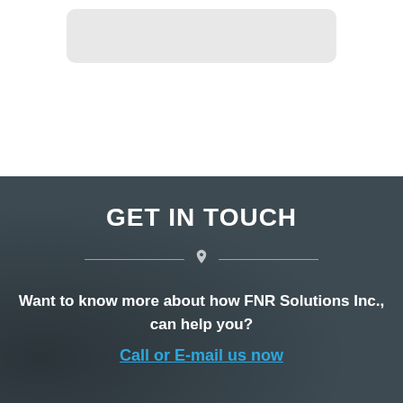[Figure (other): Gray rounded rectangle form/input box placeholder at top of page]
GET IN TOUCH
Want to know more about how FNR Solutions Inc., can help you?
Call or E-mail us now